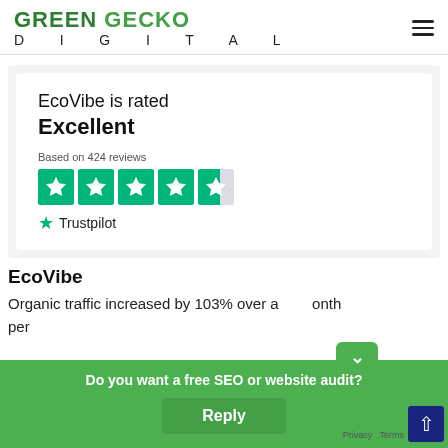[Figure (logo): Green Gecko Digital logo with green bold text 'GREEN GECKO' and black spaced text 'DIGITAL' below]
EcoVibe is rated Excellent
Based on 424 reviews
[Figure (other): Trustpilot 4.5-star rating widget with 5 green star boxes and Trustpilot logo]
EcoVibe
Organic traffic increased by 103% over a month per...
Do you want a free SEO or website audit?